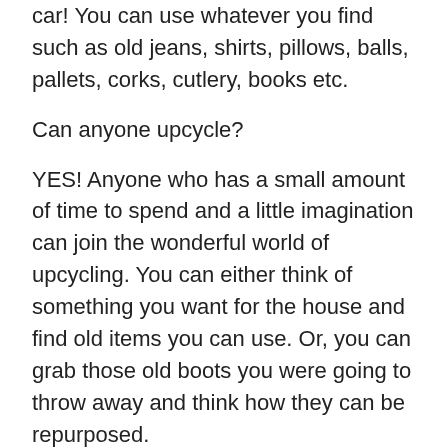car! You can use whatever you find such as old jeans, shirts, pillows, balls, pallets, corks, cutlery, books etc.
Can anyone upcycle?
YES! Anyone who has a small amount of time to spend and a little imagination can join the wonderful world of upcycling. You can either think of something you want for the house and find old items you can use. Or, you can grab those old boots you were going to throw away and think how they can be repurposed.